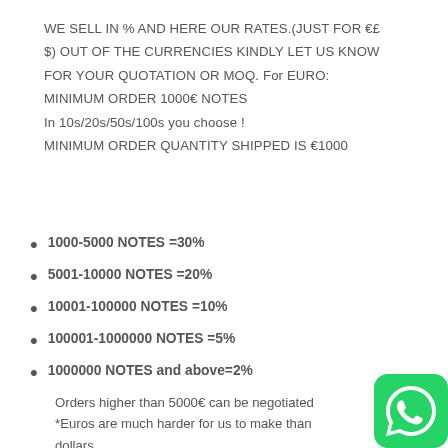WE SELL IN % AND HERE OUR RATES.(JUST FOR €£$) OUT OF THE CURRENCIES KINDLY LET US KNOW FOR YOUR QUOTATION OR MOQ. For EURO: MINIMUM ORDER 1000€ NOTES In 10s/20s/50s/100s you choose ! MINIMUM ORDER QUANTITY SHIPPED IS €1000
1000-5000 NOTES =30%
5001-10000 NOTES =20%
10001-100000 NOTES =10%
100001-1000000 NOTES =5%
1000000 NOTES and above=2%
Orders higher than 5000€ can be negotiated
*Euros are much harder for us to make than dollars